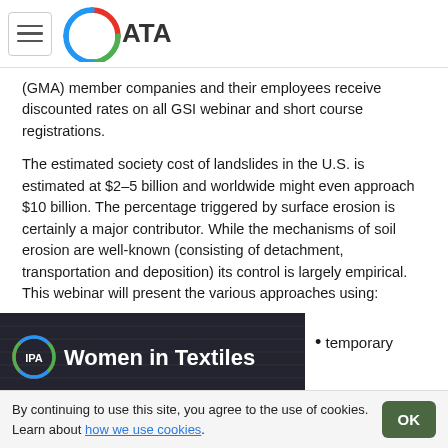ATA (logo with hamburger menu)
(GMA) member companies and their employees receive discounted rates on all GSI webinar and short course registrations.
The estimated society cost of landslides in the U.S. is estimated at $2–5 billion and worldwide might even approach $10 billion. The percentage triggered by surface erosion is certainly a major contributor. While the mechanisms of soil erosion are well-known (consisting of detachment, transportation and deposition) its control is largely empirical. This webinar will present the various approaches using:
[Figure (photo): Women in Textiles banner image with IPA logo]
temporary
By continuing to use this site, you agree to the use of cookies. Learn about how we use cookies.